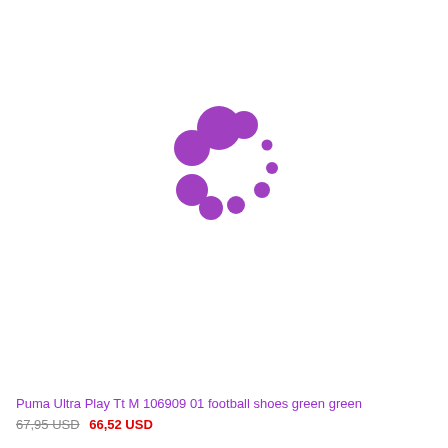[Figure (other): A loading spinner made of purple circles arranged in a circular pattern, varying in size from large to small, indicating a loading state.]
Puma Ultra Play Tt M 106909 01 football shoes green green
67,95 USD 66,52 USD